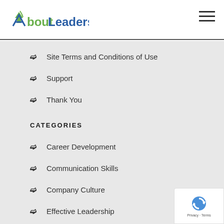[Figure (logo): AboutLeaders logo with green and blue text and leaf/arrow icon]
Site Terms and Conditions of Use
Support
Thank You
CATEGORIES
Career Development
Communication Skills
Company Culture
Effective Leadership